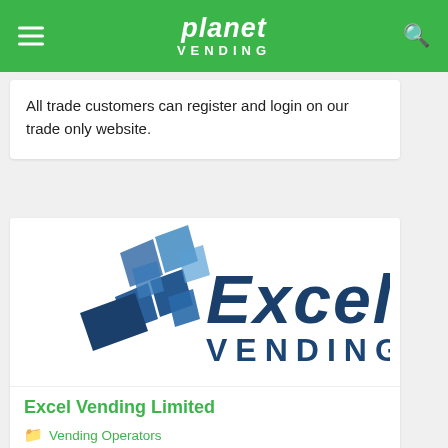planet VENDING
All trade customers can register and login on our trade only website.
[Figure (logo): Excel Vending logo: blue geometric diamond/arrow shapes on left, with 'Excel' in dark blue italic text and 'VENDING' in large dark blue uppercase letters]
Excel Vending Limited
Vending Operators
12-16 Langlands Avenue, Kelvin South Business Park, East Kilbride, Glasgow G75 0YG, United Kingdom